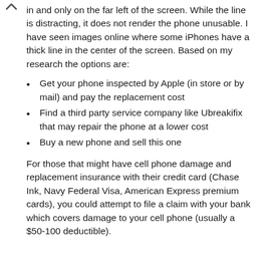in and only on the far left of the screen. While the line is distracting, it does not render the phone unusable. I have seen images online where some iPhones have a thick line in the center of the screen. Based on my research the options are:
Get your phone inspected by Apple (in store or by mail) and pay the replacement cost
Find a third party service company like Ubreakifix that may repair the phone at a lower cost
Buy a new phone and sell this one
For those that might have cell phone damage and replacement insurance with their credit card (Chase Ink, Navy Federal Visa, American Express premium cards), you could attempt to file a claim with your bank which covers damage to your cell phone (usually a $50-100 deductible).